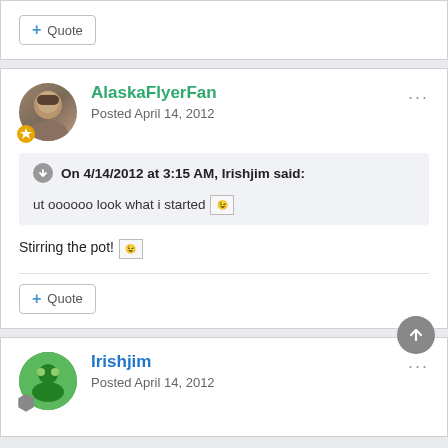+ Quote
AlaskaFlyerFan
Posted April 14, 2012
On 4/14/2012 at 3:15 AM, Irishjim said:
ut oooooo look what i started ;)
Stirring the pot! ;)
+ Quote
Irishjim
Posted April 14, 2012